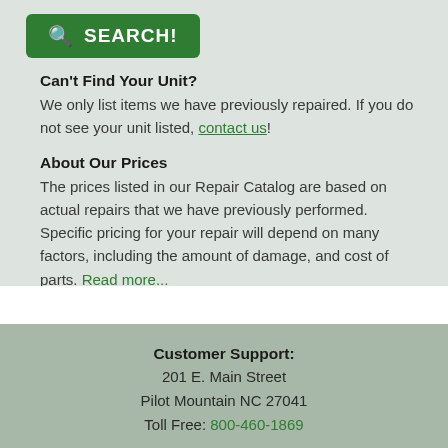[Figure (other): Green rounded rectangle button with magnifying glass icon and text 'SEARCH!']
Can't Find Your Unit?
We only list items we have previously repaired. If you do not see your unit listed, contact us!
About Our Prices
The prices listed in our Repair Catalog are based on actual repairs that we have previously performed. Specific pricing for your repair will depend on many factors, including the amount of damage, and cost of parts. Read more...
Customer Support:
201 E. Main Street
Pilot Mountain NC 27041

Toll Free: 800-460-1869